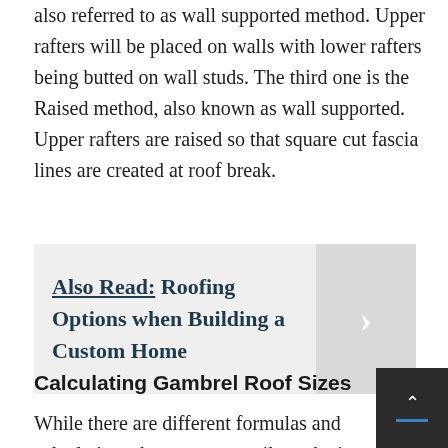also referred to as wall supported method. Upper rafters will be placed on walls with lower rafters being butted on wall studs. The third one is the Raised method, also known as wall supported. Upper rafters are raised so that square cut fascia lines are created at roof break.
Also Read: Roofing Options when Building a Custom Home
Calculating Gambrel Roof Sizes
While there are different formulas and calculations that you can easily make in order to see exactly what the size of